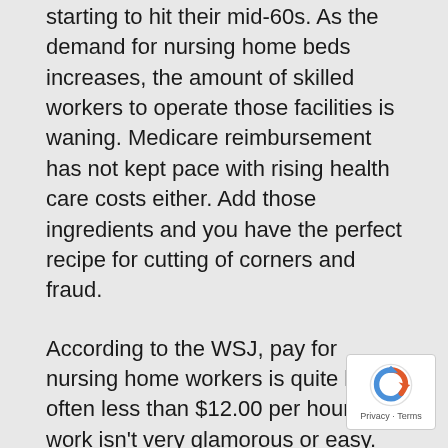starting to hit their mid-60s. As the demand for nursing home beds increases, the amount of skilled workers to operate those facilities is waning. Medicare reimbursement has not kept pace with rising health care costs either. Add those ingredients and you have the perfect recipe for cutting of corners and fraud.
According to the WSJ, pay for nursing home workers is quite low, often less than $12.00 per hour. The work isn't very glamorous or easy. Plus it can be physically demanding. Many of the patients requiring skilled care are not ambulatory and need to be lifted several times per day.
Federal and state law require minimum staffing guidelines but don't offer much money to help the majority of homes that accept Medicare patients. The result is a huge temptation to submit fraudulent billings